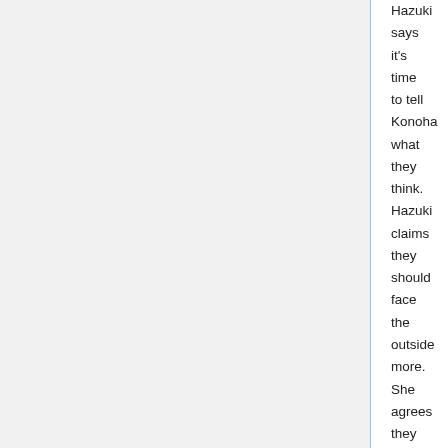Hazuki says it's time to tell Konoha what they think. Hazuki claims they should face the outside more. She agrees they were abused by circumstances, but recently she started wondering if they can trust others. Konoha says they've gotten this far only by trusting themselves. Hazuki brings up the Director and their friends at Tsuzuji's House. Konoha says they're different things. Hazuki says they're the same. She claims that they've forgotten, but there used to be people they could confide in. Hazuki says if they take a look around, there's people they can trust.
Konoha tells Hazuki to stop and asks why she's saying those things. Ayame sees Konoha is crying. Konoha says it's always been the three of them, and she was fine with that. Lorem continues below...